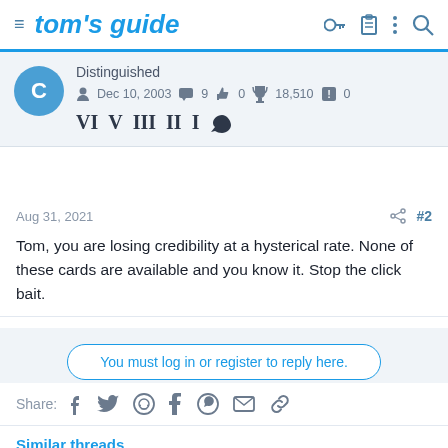tom's guide
Distinguished
Dec 10, 2003  9  0  18,510  0
Aug 31, 2021  #2
Tom, you are losing credibility at a hysterical rate. None of these cards are available and you know it. Stop the click bait.
You must log in or register to reply here.
Share:
Similar threads